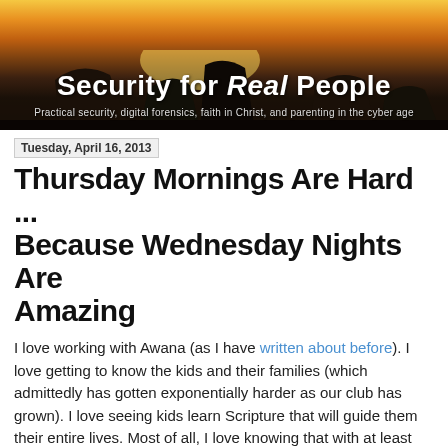[Figure (photo): Website banner header showing a sunset over ocean rock formations with silhouetted sea stacks. Text overlay reads 'Security for Real People' with subtitle 'Practical security, digital forensics, faith in Christ, and parenting in the cyber age']
Tuesday, April 16, 2013
Thursday Mornings Are Hard ... Because Wednesday Nights Are Amazing
I love working with Awana (as I have written about before). I love getting to know the kids and their families (which admittedly has gotten exponentially harder as our club has grown). I love seeing kids learn Scripture that will guide them their entire lives. Most of all, I love knowing that with at least this one part of my life, I am doing exactly what God has called me to do.